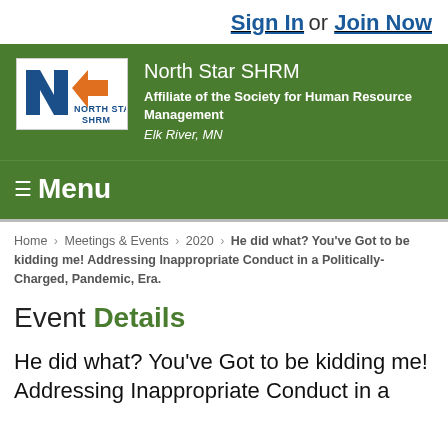Sign In or Join Now
[Figure (logo): North Star SHRM logo with blue N and orange arrow shape, text North Star SHRM]
North Star SHRM
Affiliate of the Society for Human Resource Management
Elk River, MN
≡ Menu
Home › Meetings & Events › 2020 › He did what? You've Got to be kidding me! Addressing Inappropriate Conduct in a Politically-Charged, Pandemic, Era.
Event Details
He did what? You've Got to be kidding me! Addressing Inappropriate Conduct in a